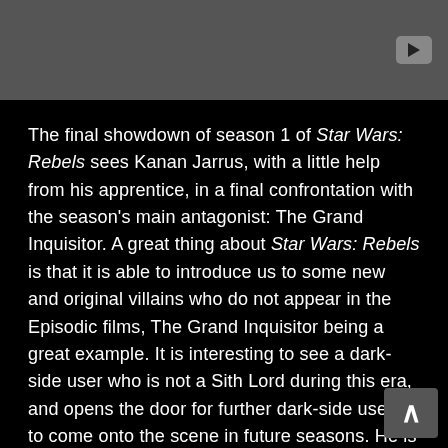[Figure (screenshot): Dark-themed webpage screenshot showing a YouTube icon button in top-right on a grey bar, and a black background content area with white text reviewing Star Wars: Rebels season 1 finale, and a scroll-up chevron button in the lower right.]
The final showdown of season 1 of Star Wars: Rebels sees Kanan Jarrus, with a little help from his apprentice, in a final confrontation with the season's main antagonist: The Grand Inquisitor. A great thing about Star Wars: Rebels is that it is able to introduce us to some new and original villains who do not appear in the Episodic films, The Grand Inquisitor being a great example. It is interesting to see a dark-side user who is not a Sith Lord during this era, and opens the door for further dark-side users to come onto the scene in future seasons. He is intimidating, has amazing voice acting, and an innovative double-sided lightsaber that